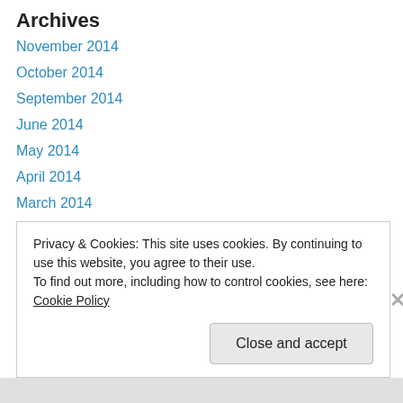Archives
November 2014
October 2014
September 2014
June 2014
May 2014
April 2014
March 2014
January 2014
November 2013
October 2013
September 2013
August 2013
Privacy & Cookies: This site uses cookies. By continuing to use this website, you agree to their use.
To find out more, including how to control cookies, see here: Cookie Policy
Close and accept